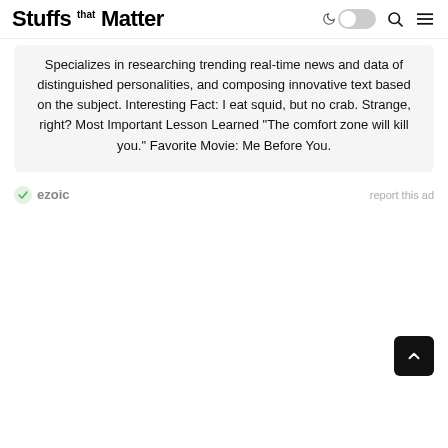Stuffs that Matter
Specializes in researching trending real-time news and data of distinguished personalities, and composing innovative text based on the subject. Interesting Fact: I eat squid, but no crab. Strange, right? Most Important Lesson Learned "The comfort zone will kill you." Favorite Movie: Me Before You.
[Figure (logo): Ezoic logo with green checkmark circle icon and 'ezoic' text in gray]
report this ad